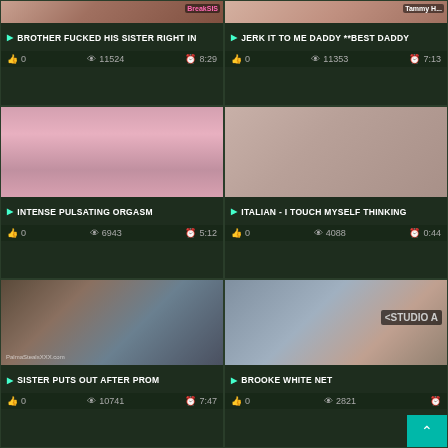[Figure (screenshot): Video thumbnail grid showing adult video website with 6 video cards in 2 columns]
BROTHER FUCKED HIS SISTER RIGHT IN
0  11524  8:29
JERK IT TO ME DADDY **BEST DADDY
0  11353  7:13
INTENSE PULSATING ORGASM
0  6943  5:12
ITALIAN - I TOUCH MYSELF THINKING
0  4088  0:44
SISTER PUTS OUT AFTER PROM
0  10741  7:47
BROOKE WHITE NET
0  2821